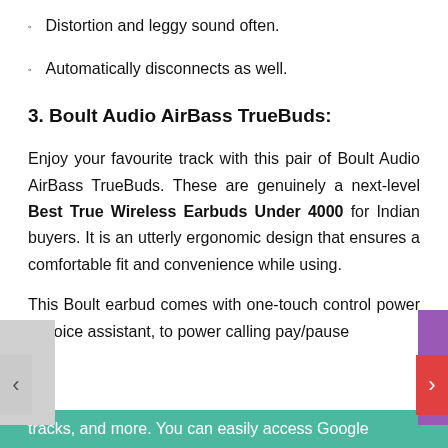Distortion and leggy sound often.
Automatically disconnects as well.
3. Boult Audio AirBass TrueBuds:
Enjoy your favourite track with this pair of Boult Audio AirBass TrueBuds. These are genuinely a next-level Best True Wireless Earbuds Under 4000 for Indian buyers. It is an utterly ergonomic design that ensures a comfortable fit and convenience while using.
This Boult earbud comes with one-touch control power of voice assistant, to power calling pay/pause tracks, and more. You can easily access Google